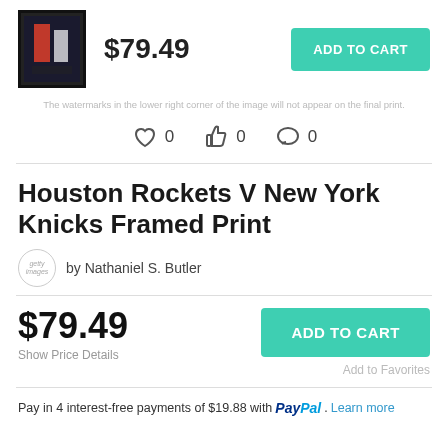[Figure (photo): Framed print thumbnail showing basketball players]
$79.49
ADD TO CART
The watermarks in the lower right corner of the image will not appear on the final print.
[Figure (other): Social icons: heart 0, thumbs up 0, comment 0]
Houston Rockets V New York Knicks Framed Print
by Nathaniel S. Butler
$79.49
Show Price Details
ADD TO CART
Add to Favorites
Pay in 4 interest-free payments of $19.88 with PayPal. Learn more